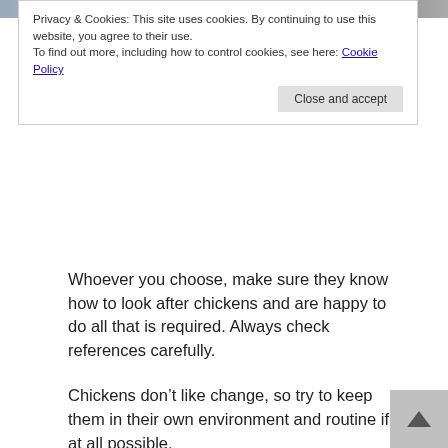[Figure (photo): Partial view of chicken-related photo at top of page, cropped]
Privacy & Cookies: This site uses cookies. By continuing to use this website, you agree to their use.
To find out more, including how to control cookies, see here: Cookie Policy
Close and accept
Whoever you choose, make sure they know how to look after chickens and are happy to do all that is required. Always check references carefully.
Chickens don’t like change, so try to keep them in their own environment and routine if at all possible.
Relocating your chickens
Maybe none of the above options are workable, in which case you might have to consider relocating your chickens when you go away.